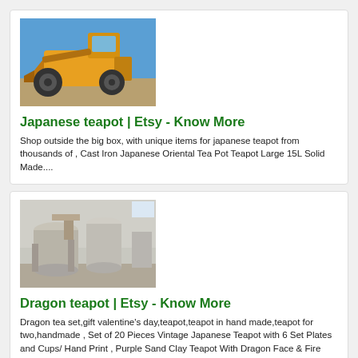[Figure (photo): A large yellow wheel loader / construction vehicle photographed against a blue sky.]
Japanese teapot | Etsy - Know More
Shop outside the big box, with unique items for japanese teapot from thousands of , Cast Iron Japanese Oriental Tea Pot Teapot Large 15L Solid Made....
[Figure (photo): An industrial interior with large white dust collection or mixing equipment/tanks in a warehouse or factory setting.]
Dragon teapot | Etsy - Know More
Dragon tea set,gift valentine's day,teapot,teapot in hand made,teapot for two,handmade , Set of 20 Pieces Vintage Japanese Teapot with 6 Set Plates and Cups/ Hand Print , Purple Sand Clay Teapot With Dragon Face & Fire Ball Design n108E , Stone gourd ladle pot recommended The dragon blood sand pot